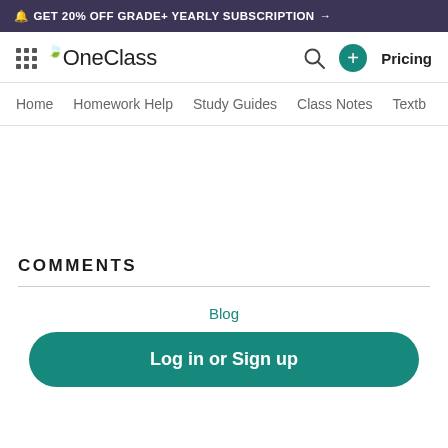🔔 GET 20% OFF GRADE+ YEARLY SUBSCRIPTION →
[Figure (logo): OneClass logo with grid icon and navigation icons including search, plus button, and Pricing link]
Home  Homework Help  Study Guides  Class Notes  Textb
COMMENTS
Blog
Log in or Sign up